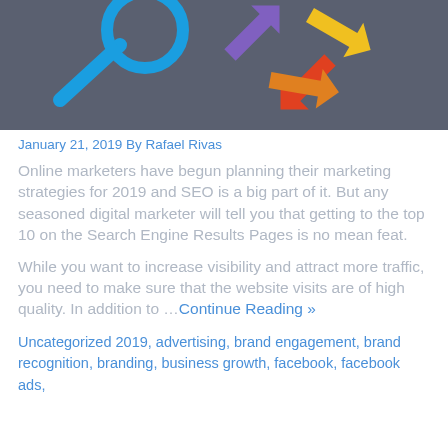[Figure (photo): Photo of colorful arrow signs and a blue magnifying glass on a dark background, representing SEO and marketing directions.]
January 21, 2019 By Rafael Rivas
Online marketers have begun planning their marketing strategies for 2019 and SEO is a big part of it. But any seasoned digital marketer will tell you that getting to the top 10 on the Search Engine Results Pages is no mean feat.
While you want to increase visibility and attract more traffic, you need to make sure that the website visits are of high quality. In addition to … Continue Reading »
Uncategorized 2019, advertising, brand engagement, brand recognition, branding, business growth, facebook, facebook ads,